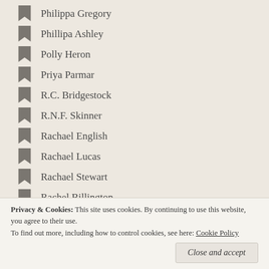Philippa Gregory
Phillipa Ashley
Polly Heron
Priya Parmar
R.C. Bridgestock
R.N.F. Skinner
Rachael English
Rachael Lucas
Rachael Stewart
Rachel Billington
Rachel Clare
Rachel Elliott
Rachel Ferguson
Privacy & Cookies: This site uses cookies. By continuing to use this website, you agree to their use. To find out more, including how to control cookies, see here: Cookie Policy
Rebecca Jenkins